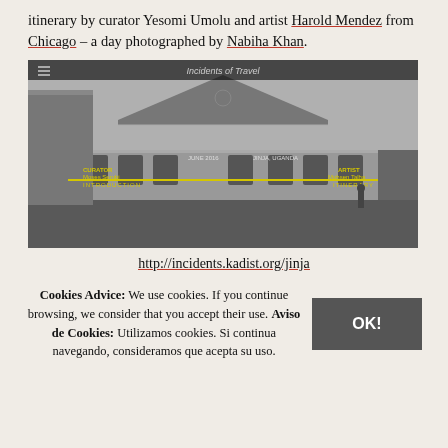itinerary by curator Yesomi Umolu and artist Harold Mendez from Chicago – a day photographed by Nabiha Khan.
[Figure (screenshot): Screenshot of the incidents.kadist.org/jinja website showing a black-and-white photograph of a building in Jinja, Uganda with yellow-highlighted navigation labels: CURATOR Moses Serubi / INTRODUCTION on left, ARTIST Mohsen Talha / ITINERARY on right, and center text 'Incidents of Travel' and 'JUNE 2016, JINJA, UGANDA'. A hamburger menu icon is visible in the top-left corner.]
http://incidents.kadist.org/jinja
Cookies Advice: We use cookies. If you continue browsing, we consider that you accept their use. Aviso de Cookies: Utilizamos cookies. Si continua navegando, consideramos que acepta su uso.